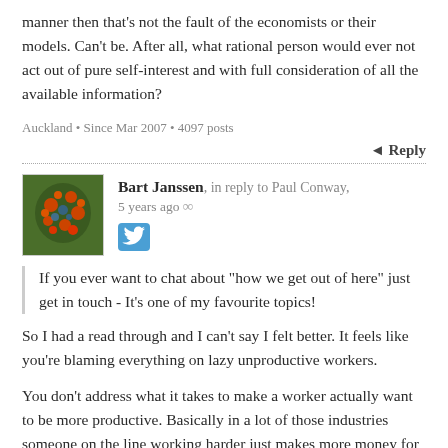manner then that's not the fault of the economists or their models. Can't be. After all, what rational person would ever not act out of pure self-interest and with full consideration of all the available information?
Auckland • Since Mar 2007 • 4097 posts
↩ Reply
Bart Janssen, in reply to Paul Conway, 5 years ago ∞
If you ever want to chat about "how we get out of here" just get in touch - It's one of my favourite topics!
So I had a read through and I can't say I felt better. It feels like you're blaming everything on lazy unproductive workers.
You don't address what it takes to make a worker actually want to be more productive. Basically in a lot of those industries someone on the line working harder just makes more money for the old white